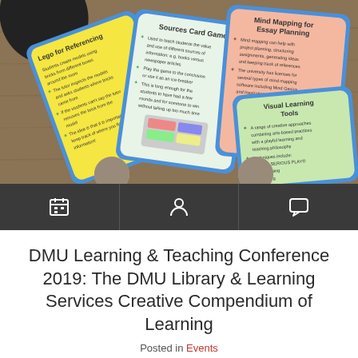[Figure (photo): Hero image showing educational card game cards fanned out on a wooden table. Cards visible: 'Sources Card Game', 'Mind Mapping for Essay Planning', 'Lego for Referencing', 'Visual Learning Tools'. Two small photos of students are partially visible at the bottom.]
DMU Learning & Teaching Conference 2019: The DMU Library & Learning Services Creative Compendium of Learning
Posted in Events
Thanks to Anna Richards, Liaison and Project